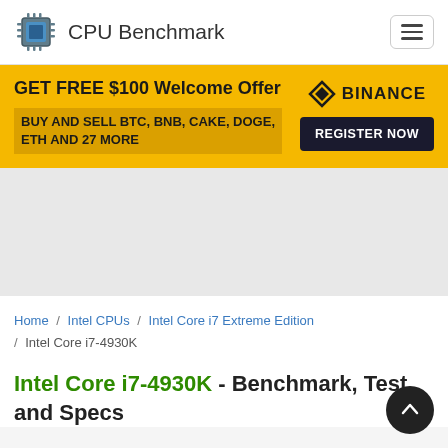CPU Benchmark
[Figure (screenshot): Binance advertisement banner with yellow background: 'GET FREE $100 Welcome Offer', 'BUY AND SELL BTC, BNB, CAKE, DOGE, ETH AND 27 MORE', Binance logo, and 'REGISTER NOW' button]
Home / Intel CPUs / Intel Core i7 Extreme Edition / Intel Core i7-4930K
Intel Core i7-4930K - Benchmark, Test and Specs